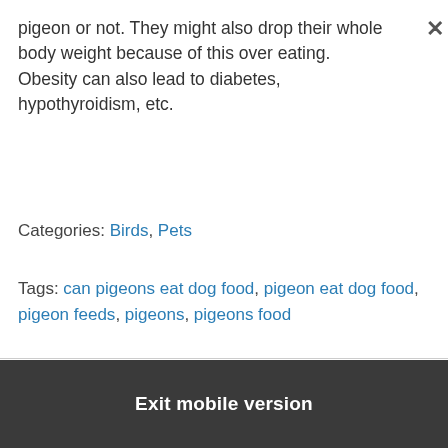pigeon or not. They might also drop their whole body weight because of this over eating. Obesity can also lead to diabetes, hypothyroidism, etc.
Categories: Birds, Pets
Tags: can pigeons eat dog food, pigeon eat dog food, pigeon feeds, pigeons, pigeons food
Todocat
Back to top
Exit mobile version